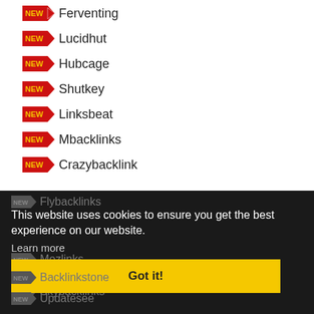Ferventing
Lucidhut
Hubcage
Shutkey
Linksbeat
Mbacklinks
Crazybacklink
Flybacklinks
Mozlinks
Skybacklinks
Backlinkstone
Updatesee
This website uses cookies to ensure you get the best experience on our website.
Learn more
Got it!